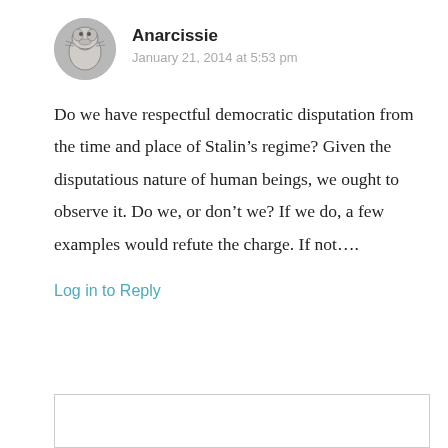[Figure (illustration): Circular avatar image with a cartoon drawing of a character (Snoopy-like figure), grey tones]
Anarcissie
January 21, 2014 at 5:53 pm
Do we have respectful democratic disputation from the time and place of Stalin’s regime? Given the disputatious nature of human beings, we ought to observe it. Do we, or don’t we? If we do, a few examples would refute the charge. If not….
Log in to Reply